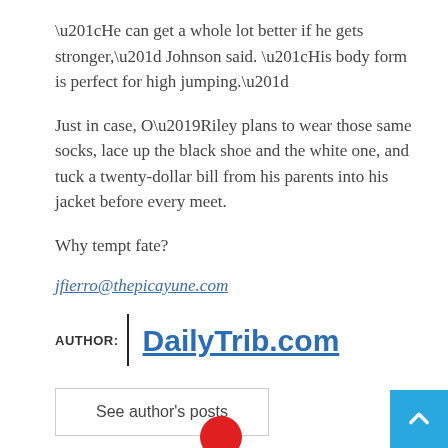“He can get a whole lot better if he gets stronger,” Johnson said. “His body form is perfect for high jumping.”
Just in case, O’Riley plans to wear those same socks, lace up the black shoe and the white one, and tuck a twenty-dollar bill from his parents into his jacket before every meet.
Why tempt fate?
jfierro@thepicayune.com
AUTHOR: DailyTrib.com
See author's posts